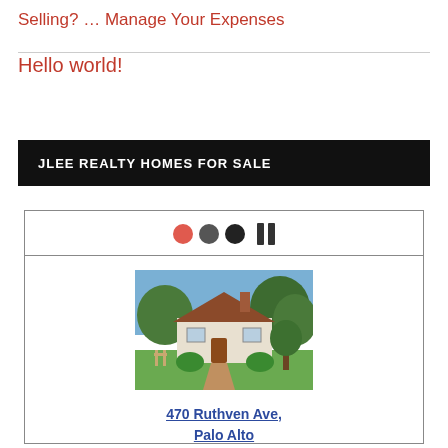Selling? … Manage Your Expenses
Hello world!
JLEE REALTY HOMES FOR SALE
[Figure (screenshot): A card widget showing a house photo for 470 Ruthven Ave, Palo Alto with media controls (colored dots and pause icon)]
470 Ruthven Ave, Palo Alto